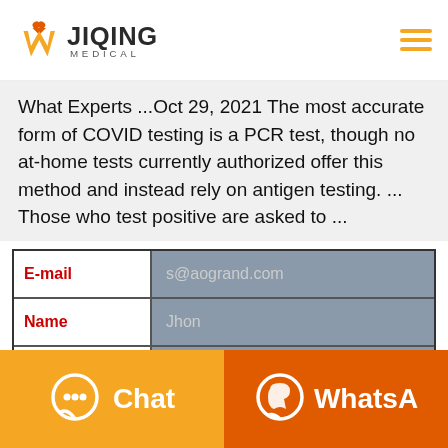[Figure (logo): W Jiqing Medical logo with orange W icon and text JIQING MEDICAL]
What Experts ...Oct 29, 2021 The most accurate form of COVID testing is a PCR test, though no at-home tests currently authorized offer this method and instead rely on antigen testing. ... Those who test positive are asked to ...
| E-mail | s@aogrand.com |
| --- | --- |
| Name | Jhon |
| Whatsapp/Te |  |
[Figure (infographic): Two bottom buttons: Chat (orange/amber) and WhatsApp (dark orange) with icons]